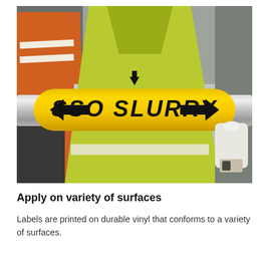[Figure (photo): Two workers wearing high-visibility yellow-green safety vests holding a pipe with a yellow SSO SLURRY label marker with black arrows pointing left on both sides.]
Apply on variety of surfaces
Labels are printed on durable vinyl that conforms to a variety of surfaces.